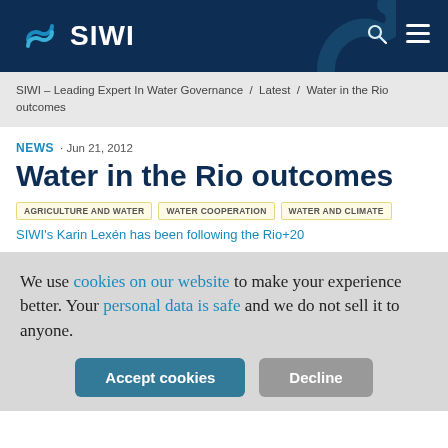SIWI
SIWI – Leading Expert In Water Governance / Latest / Water in the Rio outcomes
NEWS · Jun 21, 2012
Water in the Rio outcomes
AGRICULTURE AND WATER
WATER COOPERATION
WATER AND CLIMATE
SIWI's Karin Lexén has been following the Rio+20
We use cookies on our website to make your experience better. Your personal data is safe and we do not sell it to anyone.